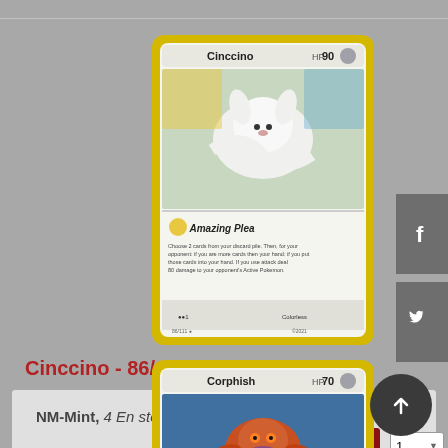[Figure (photo): Pokemon trading card for Cinccino, 86/111, Uncommon. Yellow-bordered card showing a white chinchilla-like Pokemon. HP 90. Move: Amazing Plea.]
Cinccino - 86/111 - Uncommon
NM-Mint, 4 En stock
CAD$ 1.99
[Figure (photo): Pokemon trading card for Corphish, partially visible. Yellow-bordered card showing an orange crayfish-like Pokemon. HP 70.]